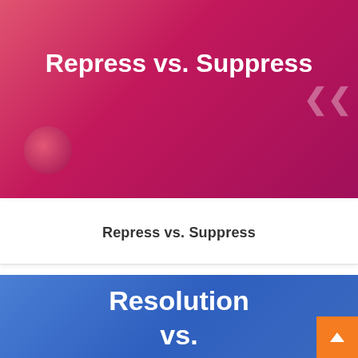[Figure (screenshot): Pink/magenta gradient card with title 'Repress vs. Suppress' in white bold text, a decorative orb in the bottom left, and a faint back arrow on the right edge]
Repress vs. Suppress
Repress vs. Suppress
[Figure (screenshot): Blue gradient card with title 'Resolution vs. Solution' partially visible, a blue triangle decoration top right, and an orange scroll-to-top button bottom right]